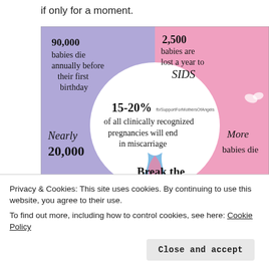if only for a moment.
[Figure (infographic): Infographic with statistics about infant and pregnancy loss. Four colored quadrants (lavender/purple and pink) around a central white heart. Text: '90,000 babies die annually before their first birthday' (top-left, purple), '2,500 babies are lost a year to SIDS' (top-right, pink), '15-20% of all clinically recognized pregnancies will end in miscarriage' (center, white heart, with fb/SupportForMothersOfAngels watermark), 'Nearly 20,000' (bottom-left, purple), 'Break the [Silence]' (bottom center bold), 'More babies die [at/from...]' (bottom-right, pink). Blue and pink ribbon in center of heart.]
Privacy & Cookies: This site uses cookies. By continuing to use this website, you agree to their use.
To find out more, including how to control cookies, see here: Cookie Policy